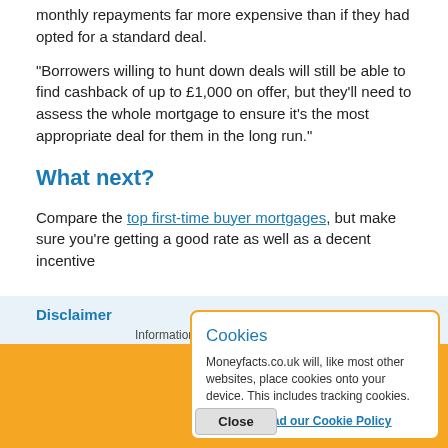monthly repayments far more expensive than if they had opted for a standard deal.
"Borrowers willing to hunt down deals will still be able to find cashback of up to £1,000 on offer, but they'll need to assess the whole mortgage to ensure it's the most appropriate deal for them in the long run."
What next?
Compare the top first-time buyer mortgages, but make sure you're getting a good rate as well as a decent incentive
Disclaimer
Information is correct as of the date of publication (shown at the top of this article). Any products featured may be withdrawn by their provider or changed at any time. Links to third parties on this page are paid for by the third party. You can find out more about the individual products by visiting their site. Moneyfacts.co.uk will receive a small payment if you use their services after you click through to their site. By using Moneyfacts.co.uk, you agree that we and our partner Moneyfacts Group plc (together 'we'), will share your information with Creditspring Limited. View our full Cookie Policy.
[Figure (screenshot): Cookie consent popup overlay with orange background. Popup reads: 'Cookies - Moneyfacts.co.uk will, like most other websites, place cookies onto your device. This includes tracking cookies.' with links 'I accept' and 'Read our Cookie Policy', and a Close button.]